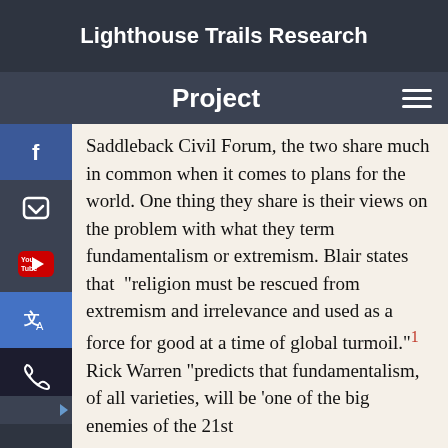Lighthouse Trails Research
Project
Saddleback Civil Forum, the two share much in common when it comes to plans for the world. One thing they share is their views on the problem with what they term fundamentalism or extremism. Blair states that “religion must be rescued from extremism and irrelevance and used as a force for good at a time of global turmoil.”¹ Rick Warren “predicts that fundamentalism, of all varieties, will be ‘one of the big enemies of the 21st